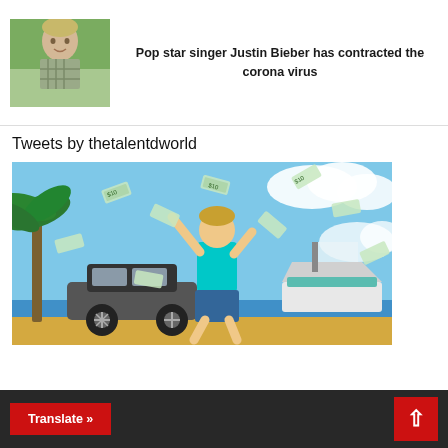[Figure (photo): Photo of Justin Bieber, young male with light hair]
Pop star singer Justin Bieber has contracted the corona virus
Tweets by thetalentdworld
[Figure (illustration): Cartoon illustration of a man in cyan t-shirt and blue shorts dancing on a beach with money flying around, a sports car on the left and a yacht on the right, palm tree in background]
Translate »